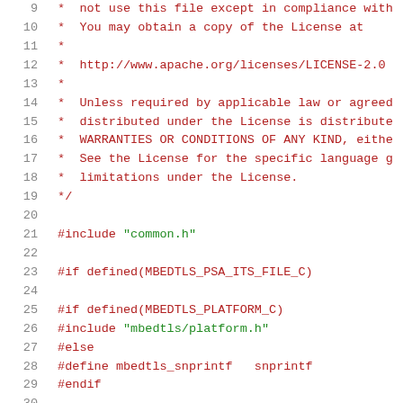Source code file with Apache license header and preprocessor directives, lines 9-30
9   *  not use this file except in compliance with
10  *  You may obtain a copy of the License at
11  *
12  *  http://www.apache.org/licenses/LICENSE-2.0
13  *
14  *  Unless required by applicable law or agreed
15  *  distributed under the License is distributed
16  *  WARRANTIES OR CONDITIONS OF ANY KIND, eithe
17  *  See the License for the specific language g
18  *  limitations under the License.
19  */
20
21  #include "common.h"
22
23  #if defined(MBEDTLS_PSA_ITS_FILE_C)
24
25  #if defined(MBEDTLS_PLATFORM_C)
26  #include "mbedtls/platform.h"
27  #else
28  #define mbedtls_snprintf   snprintf
29  #endif
30